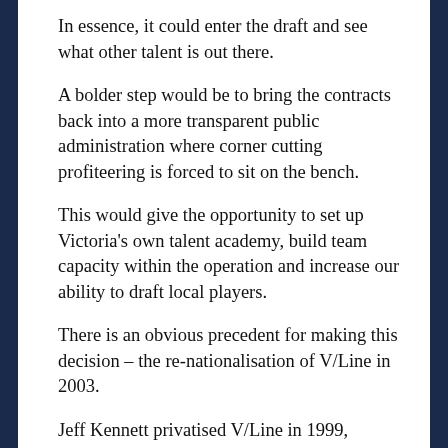In essence, it could enter the draft and see what other talent is out there.
A bolder step would be to bring the contracts back into a more transparent public administration where corner cutting profiteering is forced to sit on the bench.
This would give the opportunity to set up Victoria's own talent academy, build team capacity within the operation and increase our ability to draft local players.
There is an obvious precedent for making this decision – the re-nationalisation of V/Line in 2003.
Jeff Kennett privatised V/Line in 1999, handing the business over to UK-based company